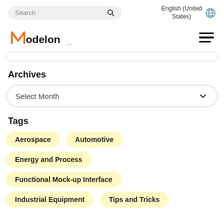Search | English (United States)
[Figure (logo): Modelon logo with orange stylized M and black text]
Archives
Select Month
Tags
Aerospace
Automotive
Energy and Process
Functional Mock-up Interface
Industrial Equipment
Tips and Tricks